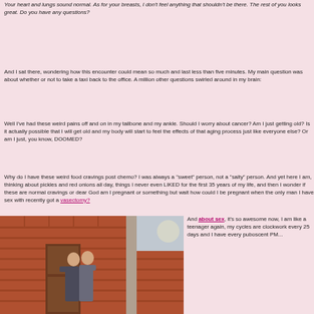Your heart and lungs sound normal. As for your breasts, I don't feel anything that shouldn't be there. The rest of you looks great. Do you have any questions?
And I sat there, wondering how this encounter could mean so much and last less than five minutes. My main question was about whether or not to take a taxi back to the office. A million other questions swirled around in my brain:
Well I've had these weird pains off and on in my tailbone and my ankle. Should I worry about cancer? Am I just getting old? Is it actually possible that I will get old and my body will start to feel the effects of that aging process just like everyone else? Or am I just, you know, DOOMED?
Why do I have these weird food cravings post chemo? I was always a "sweet" person, not a "salty" person. And yet here I am, thinking about pickles and red onions all day, things I never even LIKED for the first 35 years of my life, and then I wonder if these are normal cravings or dear God am I pregnant or something but wait how could I be pregnant when the only man I have sex with recently got a vasectomy?
[Figure (photo): Two people kissing outdoors in front of a brick wall with a wooden door]
And about sex, it's so awesome now, I am like a teenager again, my cycles are clockwork every 25 days and I have every puboscent PM...